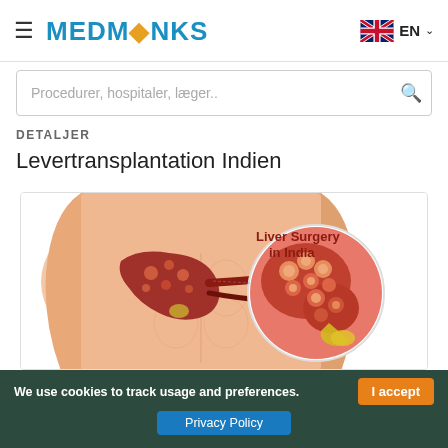MEDMØNKS EN
Procedurer, hospitaler, læger..
DETALJER
Levertransplantation Indien
[Figure (illustration): Medical illustration of liver surgery in India, showing a torso with a highlighted liver and a circular magnified view of liver tissue with nodules. Text reads 'Liver Surgery in India'.]
We use cookies to track usage and preferences. I accept Privacy Policy